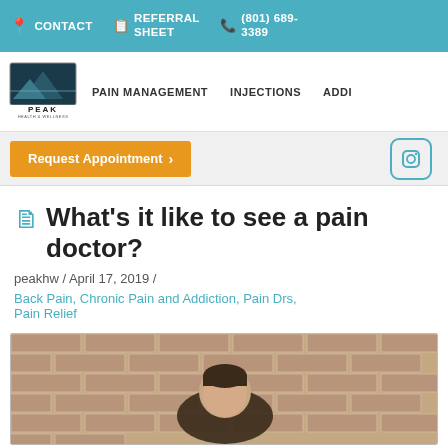CONTACT  REFERRAL SHEET  (801) 689-3389
[Figure (logo): Peak Health & Wellness logo with mountain graphic]
PAIN MANAGEMENT  INJECTIONS  ADDI
Request Appointment >
What's it like to see a pain doctor?
peakhw / April 17, 2019 /
Back Pain, Chronic Pain and Addiction, Pain Drs, Pain Relief
[Figure (photo): Doctor in front of a brick wall background, headshot photo]